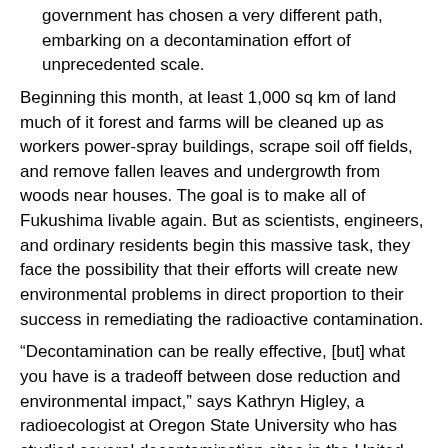government has chosen a very different path, embarking on a decontamination effort of unprecedented scale.
Beginning this month, at least 1,000 sq km of land much of it forest and farms will be cleaned up as workers power-spray buildings, scrape soil off fields, and remove fallen leaves and undergrowth from woods near houses. The goal is to make all of Fukushima livable again. But as scientists, engineers, and ordinary residents begin this massive task, they face the possibility that their efforts will create new environmental problems in direct proportion to their success in remediating the radioactive contamination.
“Decontamination can be really effective, [but] what you have is a tradeoff between dose reduction and environmental impact,” says Kathryn Higley, a radioecologist at Oregon State University who has studied several decontamination sites in the United